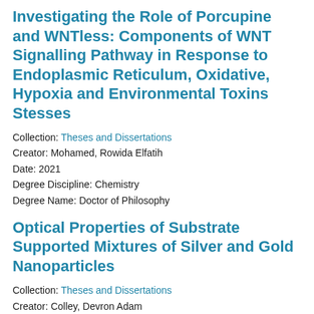Investigating the Role of Porcupine and WNTless: Components of WNT Signalling Pathway in Response to Endoplasmic Reticulum, Oxidative, Hypoxia and Environmental Toxins Stesses
Collection: Theses and Dissertations
Creator: Mohamed, Rowida Elfatih
Date: 2021
Degree Discipline: Chemistry
Degree Name: Doctor of Philosophy
Optical Properties of Substrate Supported Mixtures of Silver and Gold Nanoparticles
Collection: Theses and Dissertations
Creator: Colley, Devron Adam
Date: 2021
Degree Discipline: Chemistry